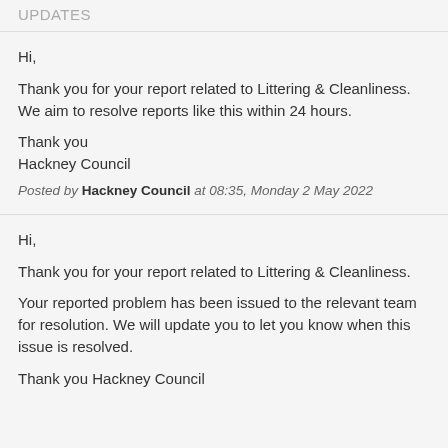UPDATES
Hi,

Thank you for your report related to Littering & Cleanliness. We aim to resolve reports like this within 24 hours.

Thank you
Hackney Council
Posted by Hackney Council at 08:35, Monday 2 May 2022
Hi,

Thank you for your report related to Littering & Cleanliness.

Your reported problem has been issued to the relevant team for resolution. We will update you to let you know when this issue is resolved.

Thank you Hackney Council